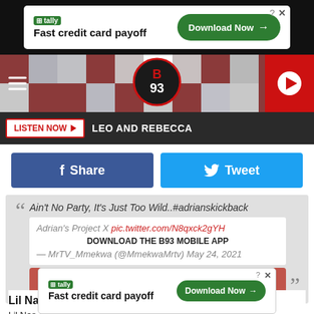[Figure (screenshot): Tally advertisement banner: Fast credit card payoff with Download Now button]
[Figure (logo): B93 radio station header with tiled mosaic background, hamburger menu, B93 logo, and play button]
LISTEN NOW ▶  LEO AND REBECCA
[Figure (screenshot): Share and Tweet social media buttons]
Ain't No Party, It's Just Too Wild..#adrianskickback Adrian's Project X pic.twitter.com/N8qxck2gYH DOWNLOAD THE B93 MOBILE APP — MrTV_Mmekwa (@MmekwaMrtv) May 24, 2021 GET OUR FREE MOBILE APP
Lil Nas X Ripped His Pants on SNL
Lil Nas X took the SNL stage this past weekend to perform his new
[Figure (screenshot): Tally advertisement banner at bottom: Fast credit card payoff with Download Now button]